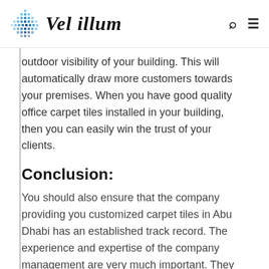Vel illum
outdoor visibility of your building. This will automatically draw more customers towards your premises. When you have good quality office carpet tiles installed in your building, then you can easily win the trust of your clients.
Conclusion:
You should also ensure that the company providing you customized carpet tiles in Abu Dhabi has an established track record. The experience and expertise of the company management are very much important. They should be able to provide you good quality tiles at a competitive price. Most of the companies providing customized flooring products in Abu Dhabi offer delivery services at the quickest time. They make available the product and